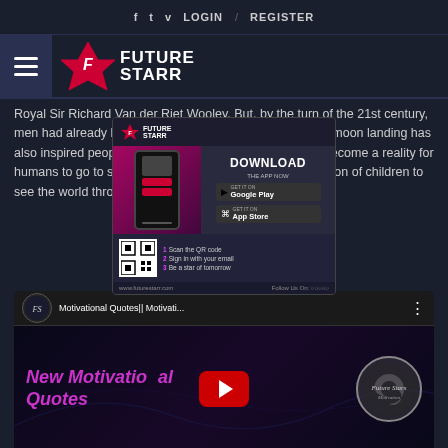f  t  v  LOGIN / REGISTER
[Figure (logo): Future Starr logo with hamburger menu, star icon and FUTURE STARR text]
Royal Sir Richard Van der Riet Wooley. But, by the turn of the 21st century, men had already been setting foot on the moon. And, the moon landing has also inspired people to explore space further, and it has become a reality for humans to go to space. It will encourage the next generation of children to see the world through the eyes of others.
[Figure (screenshot): Future Starr app advertisement overlay showing phone mockup, DOWNLOAD THE APP NOW text, Google Play and App Store buttons, QR code, and www.futurestarr.com URL]
[Figure (screenshot): YouTube video embed showing 'Motivational Quotes|| Motivati...' by Future Stars Motivation channel, thumbnail with 'New Motivational Quotes' text in magenta, red play button, and Future Stars Motivation circular logo]